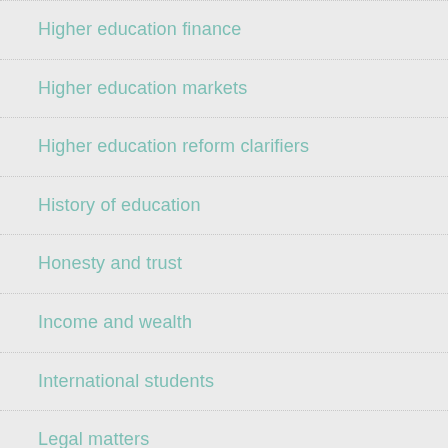Higher education finance
Higher education markets
Higher education reform clarifiers
History of education
Honesty and trust
Income and wealth
International students
Legal matters
Liberalism
Male and female